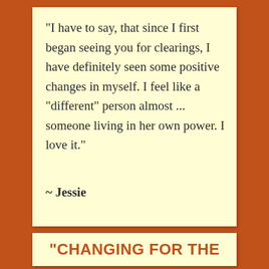"I have to say, that since I first began seeing you for clearings, I have definitely seen some positive changes in myself. I feel like a “different” person almost ... someone living in her own power. I love it."
~ Jessie
"CHANGING FOR THE